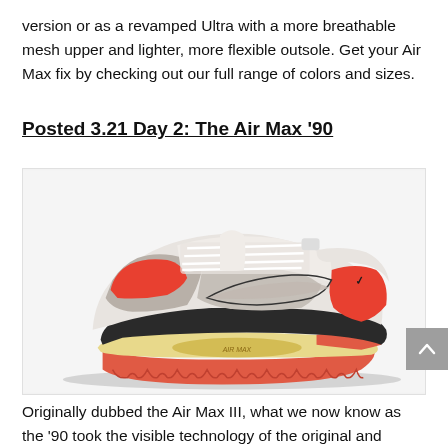version or as a revamped Ultra with a more breathable mesh upper and lighter, more flexible outsole. Get your Air Max fix by checking out our full range of colors and sizes.
Posted 3.21 Day 2: The Air Max '90
[Figure (photo): Nike Air Max '90 sneaker in white, grey, and infrared/orange-red colorway with black accents and yellowed midsole, shown in profile view against a white background.]
Originally dubbed the Air Max III, what we now know as the '90 took the visible technology of the original and upped the ante. Artfully combining form and function, Hatfield drew the eye straight to the shoe's Air-Sole unit by exposing it in a larger. And starting to see more...